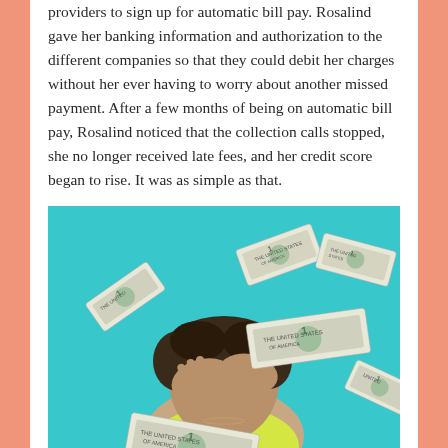providers to sign up for automatic bill pay. Rosalind gave her banking information and authorization to the different companies so that they could debit her charges without her ever having to worry about another missed payment. After a few months of being on automatic bill pay, Rosalind noticed that the collection calls stopped, she no longer received late fees, and her credit score began to rise. It was as simple as that.
[Figure (photo): A woman with curly hair covers her face with her hands while dollar bills fall around her against a bright turquoise/teal background. She is wearing a yellow top.]